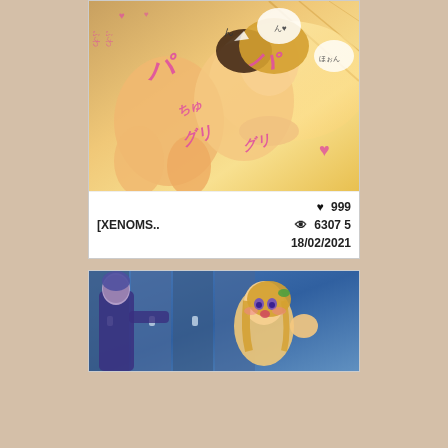[Figure (illustration): Anime/manga style illustration card showing two anime characters, warm tones with Japanese sound effect text overlaid in pink/magenta]
[XENOMS..   ♥ 999   👁 63075   18/02/2021
[Figure (illustration): Anime/screenshot style illustration showing anime characters in blue tones, locker room or hallway scene]